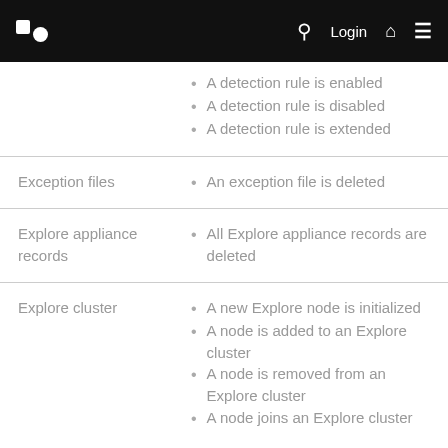Login
A detection rule is enabled
A detection rule is disabled
A detection rule is extended
Exception files
An exception file is deleted
Explore appliance records
All Explore appliance records are deleted
Explore cluster
A new Explore node is initialized
A node is added to an Explore cluster
A node is removed from an Explore cluster
A node joins an Explore cluster